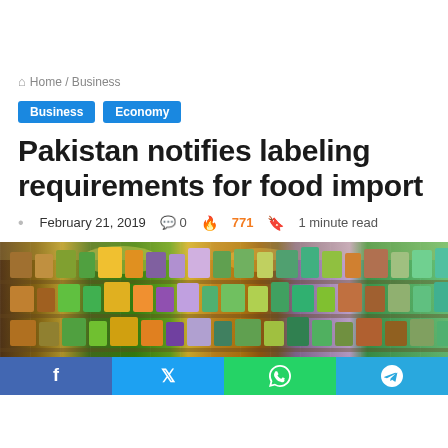Home / Business
Business  Economy
Pakistan notifies labeling requirements for food import
February 21, 2019  0  771  1 minute read
[Figure (photo): Supermarket aisle with shelves stocked with packaged food products, brightly lit with colorful product packaging visible]
f  y  (whatsapp icon)  (telegram icon)